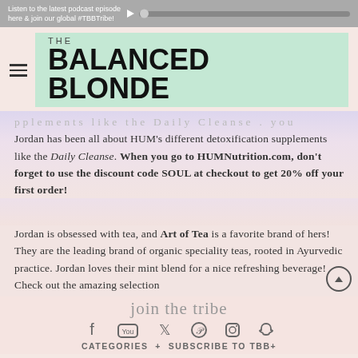Listen to the latest podcast episode here & join our global #TBBTribe!
[Figure (logo): The Balanced Blonde logo with hamburger menu icon, logo text on mint green background]
Jordan has been all about HUM's different detoxification supplements like the Daily Cleanse. When you go to HUMNutrition.com, don't forget to use the discount code SOUL at checkout to get 20% off your first order!
Jordan is obsessed with tea, and Art of Tea is a favorite brand of hers! They are the leading brand of organic speciality teas, rooted in Ayurvedic practice. Jordan loves their mint blend for a nice refreshing beverage! Check out the amazing selection
join the tribe
CATEGORIES + SUBSCRIBE TO TBB+